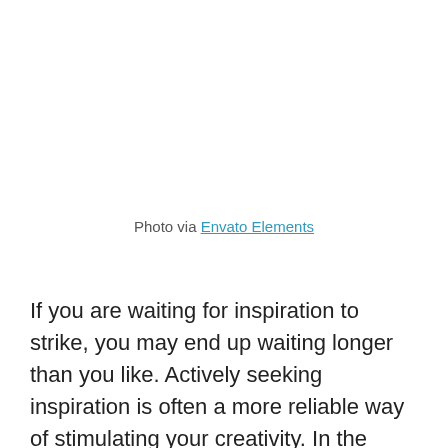Photo via Envato Elements
If you are waiting for inspiration to strike, you may end up waiting longer than you like. Actively seeking inspiration is often a more reliable way of stimulating your creativity. In the spirit of encouragement, we decided to collect these touching photography quotes, sure to pump you up